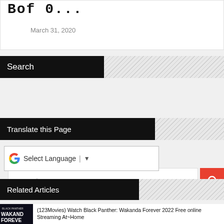Bof 0...
March 31, 2020
Search
[Figure (screenshot): Search input box with 'Search Here' placeholder text and a red search button with magnifying glass icon]
Translate this Page
[Figure (screenshot): Google Translate widget with G logo, 'Select Language' text and dropdown arrow]
Related Articles
[Figure (screenshot): Black Panther Wakanda Forever movie thumbnail - dark image with text]
(123Movies) Watch Black Panther: Wakanda Forever 2022 Free online Streaming At~Home
[Figure (screenshot): Black Panther Wakanda Forever movie thumbnail - second article]
'Black Panther: Wakanda Forever': Will Chadwick Boseman's legacy continue?